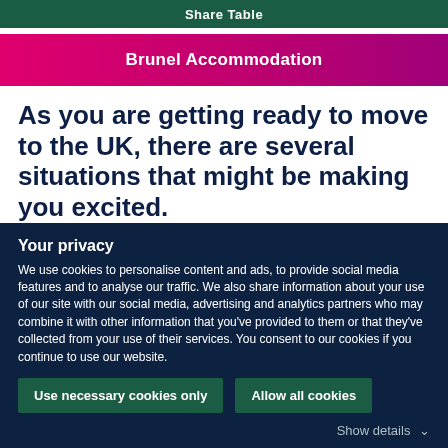Share Table
Brunel Accommodation
As you are getting ready to move to the UK, there are several situations that might be making you excited.
Still, there is one that can be incredibly stressful and
Your privacy
We use cookies to personalise content and ads, to provide social media features and to analyse our traffic. We also share information about your use of our site with our social media, advertising and analytics partners who may combine it with other information that you've provided to them or that they've collected from your use of their services. You consent to our cookies if you continue to use our website.
Use necessary cookies only
Allow all cookies
Show details